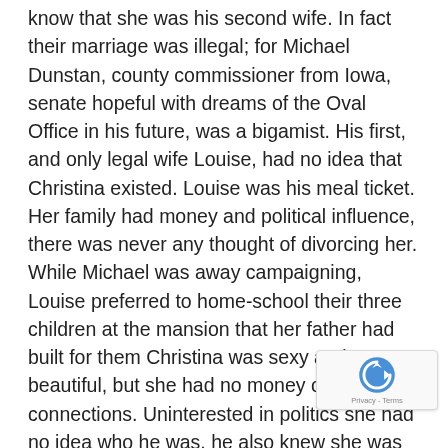know that she was his second wife. In fact their marriage was illegal; for Michael Dunstan, county commissioner from Iowa, senate hopeful with dreams of the Oval Office in his future, was a bigamist. His first, and only legal wife Louise, had no idea that Christina existed. Louise was his meal ticket. Her family had money and political influence, there was never any thought of divorcing her. While Michael was away campaigning, Louise preferred to home-school their three children at the mansion that her father had built for them Christina was sexy and beautiful, but she had no money or family connections. Uninterested in politics she had no idea who he was, he also knew she was sure to find out eventually. He was debating whether it was better to pay her off or get rid of her more permanently.He checked over his shoulder again before opening the door to his apartment onto a scene of horror.Christina lay on the floor with a large kitchen knife sticking out of her chest. Her eyelids fluttered weakly, "Micha...""Oh God, Christina."Kneeling down beside her, Michael grasped the handle of the knife as if to pull it